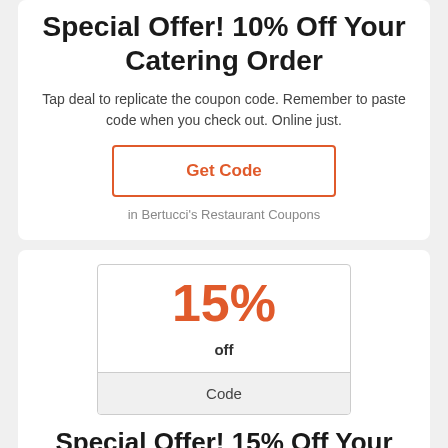Special Offer! 10% Off Your Catering Order
Tap deal to replicate the coupon code. Remember to paste code when you check out. Online just.
Get Code
in Bertucci's Restaurant Coupons
[Figure (infographic): Coupon box showing 15% off with a Code button at the bottom]
Special Offer! 15% Off Your Order
Tap deal to replicate the coupon code. Remember to paste code when you check out. Online just.